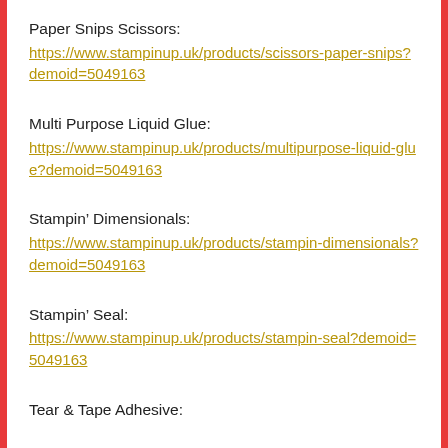Paper Snips Scissors:
https://www.stampinup.uk/products/scissors-paper-snips?demoid=5049163
Multi Purpose Liquid Glue:
https://www.stampinup.uk/products/multipurpose-liquid-glue?demoid=5049163
Stampin’ Dimensionals:
https://www.stampinup.uk/products/stampin-dimensionals?demoid=5049163
Stampin’ Seal:
https://www.stampinup.uk/products/stampin-seal?demoid=5049163
Tear & Tape Adhesive: